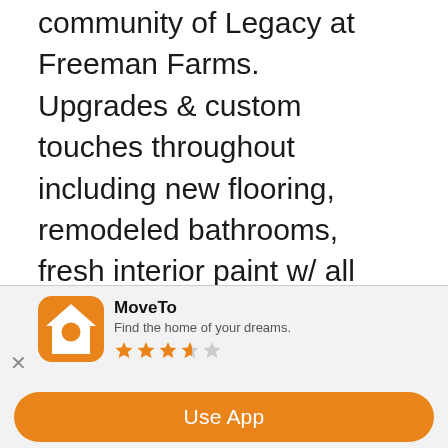community of Legacy at Freeman Farms. Upgrades & custom touches throughout including new flooring, remodeled bathrooms, fresh interior paint w/ all new baseboards, coffered ceilings, plantation shutters, LED recesses lighting, custom cabinetry, aqua science water filtration system, all new lighting & fixtures & much more. Gorgeous custom iron door greets you. Spacious family room w/ custom fireplace & full wall of sliders to back patio & view of pool. Dream kitchen w/ top of the line SS appliances (including double ovens & gas range w/ hood). pristine cabinetry. new granite
[Figure (screenshot): App install banner for MoveTo app. Shows app icon (orange house with magnifying glass), app name 'MoveTo', tagline 'Find the home of your dreams.', 3.5 star rating, and a close button (X). Below is an orange 'Use App' button.]